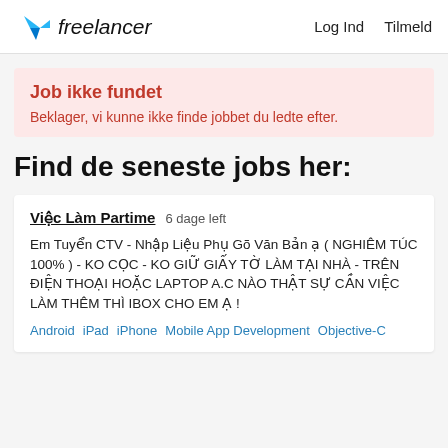Freelancer  Log Ind  Tilmeld
Job ikke fundet
Beklager, vi kunne ikke finde jobbet du ledte efter.
Find de seneste jobs her:
Việc Làm Partime  6 dage left
Em Tuyển CTV - Nhập Liệu Phụ Gõ Văn Bản ạ ( NGHIÊM TÚC 100% ) - KO CỌC - KO GIỮ GIẤY TỜ LÀM TẠI NHÀ - TRÊN ĐIỆN THOẠI HOẶC LAPTOP A.C NÀO THẬT SỰ CẦN VIỆC LÀM THÊM THÌ IBOX CHO EM Ạ !
Android  iPad  iPhone  Mobile App Development  Objective-C